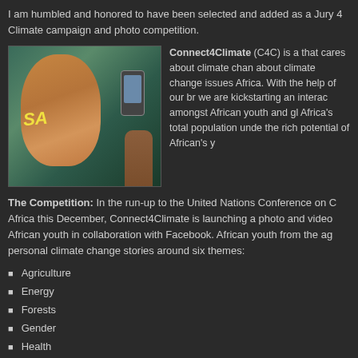I am humbled and honored to have been selected and added as a Jury 4 Climate campaign and photo competition.
[Figure (photo): A young African child with 'SA' painted in yellow on their cheek, holding a smartphone up to their face, with a green blurred background.]
Connect4Climate (C4C) is a that cares about climate change about climate change issues Africa. With the help of our br we are kickstarting an interac amongst African youth and gl Africa's total population unde the rich potential of African's y
The Competition: In the run-up to the United Nations Conference on C Africa this December, Connect4Climate is launching a photo and video African youth in collaboration with Facebook. African youth from the ag personal climate change stories around six themes:
Agriculture
Energy
Forests
Gender
Health